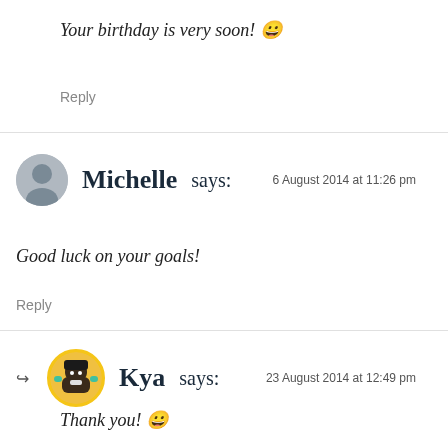Your birthday is very soon! 😀
Reply
Michelle says:
6 August 2014 at 11:26 pm
Good luck on your goals!
Reply
Kya says:
23 August 2014 at 12:49 pm
Thank you! 😀
Reply